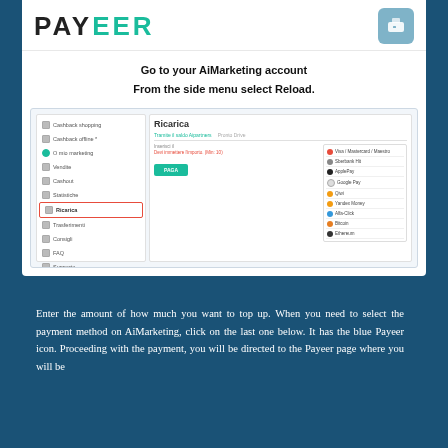PAYEER
Go to your AiMarketing account
From the side menu select Reload.
[Figure (screenshot): Screenshot of AiMarketing account interface showing sidebar menu with Ricarica item highlighted in red border, and the main Ricarica (Reload) panel with payment method options including Visa/Mastercard/Maestro, Sberbank Hit, ApplePay, Google Pay, Qiwi, Yandex Money, Alfa-Click, Bitcoin, Ethereum.]
Enter the amount of how much you want to top up. When you need to select the payment method on AiMarketing, click on the last one below. It has the blue Payeer icon. Proceeding with the payment, you will be directed to the Payeer page where you will be